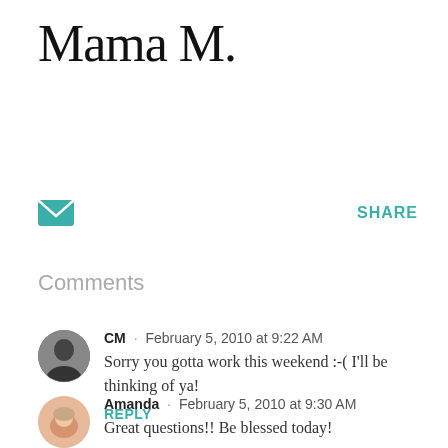Mama M.
[Figure (other): Email/envelope icon in teal]
SHARE
Comments
[Figure (photo): Avatar photo of commenter CM - black and white portrait]
CM · February 5, 2010 at 9:22 AM
Sorry you gotta work this weekend :-( I'll be thinking of ya!
REPLY
[Figure (photo): Avatar photo of Amanda - photo of a baby/newborn]
Amanda · February 5, 2010 at 9:30 AM
Great questions!! Be blessed today!
REPLY